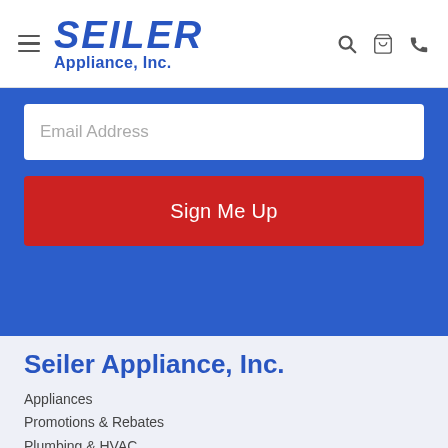SEILER Appliance, Inc.
Email Address
Sign Me Up
Seiler Appliance, Inc.
Appliances
Promotions & Rebates
Plumbing & HVAC
Services